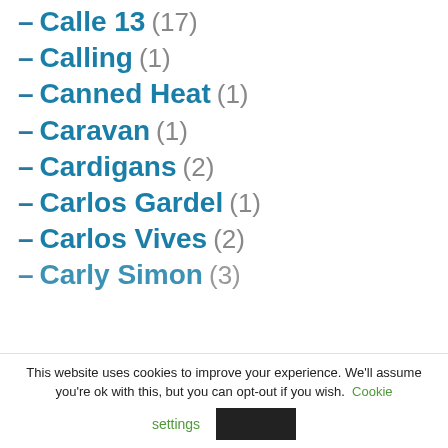– Calle 13 (17)
– Calling (1)
– Canned Heat (1)
– Caravan (1)
– Cardigans (2)
– Carlos Gardel (1)
– Carlos Vives (2)
– Carly Simon (3)
This website uses cookies to improve your experience. We'll assume you're ok with this, but you can opt-out if you wish. Cookie settings